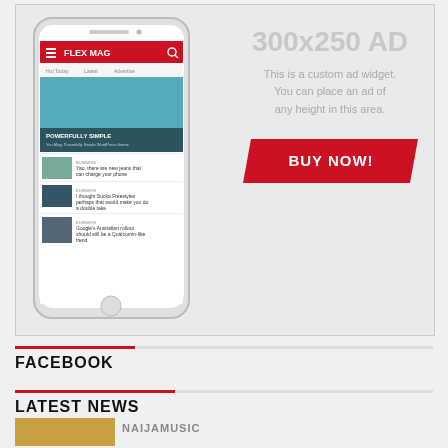[Figure (screenshot): Advertisement banner showing a smartphone running Flex Mag app on the left, and text '300x250 AD', 'This is a custom ad widget. You can place an ad of any height in this area.' with a red BUY NOW! button on the right.]
FACEBOOK
LATEST NEWS
NAIJAMUSIC